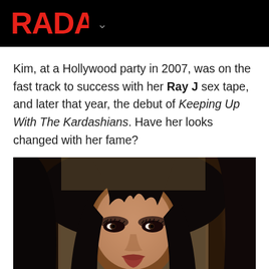RADAR
Kim, at a Hollywood party in 2007, was on the fast track to success with her Ray J sex tape, and later that year, the debut of Keeping Up With The Kardashians. Have her looks changed with her fame?
[Figure (photo): Close-up portrait photo of Kim Kardashian with long dark hair, smoky eye makeup, looking at the camera]